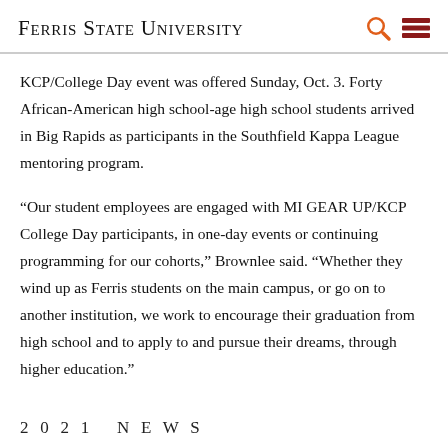Ferris State University
KCP/College Day event was offered Sunday, Oct. 3. Forty African-American high school-age high school students arrived in Big Rapids as participants in the Southfield Kappa League mentoring program.
“Our student employees are engaged with MI GEAR UP/KCP College Day participants, in one-day events or continuing programming for our cohorts,” Brownlee said. “Whether they wind up as Ferris students on the main campus, or go on to another institution, we work to encourage their graduation from high school and to apply to and pursue their dreams, through higher education.”
2021 NEWS